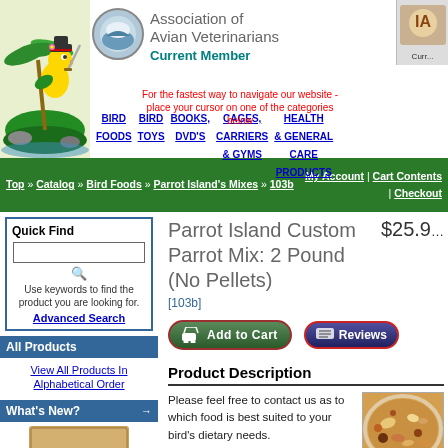[Figure (logo): Parrot Island cartoon pirate parrot logo]
[Figure (logo): Association of Avian Veterinarians Current Member circular logo]
Association of Avian Veterinarians Current Member
For the fastest way to navigate our website - place your cursor on one of the categories below
BIRD FOODS
BIRD TOYS
BOOKS, DVD'S
CAGES, CARRIERS & GYMS
HEALTH & GENERAL CARE PRODUCTS
[Figure (logo): IA Current Member partial logo]
Top » Catalog » Bird Foods » Parrot Island's Mixes » 103b | My Account | Cart Contents | Checkout
Parrot Island Custom Parrot Mix: 2 Pound (No Pellets)  $25.9
[103b]
Quick Find
Use keywords to find the product you are looking for.
Advanced Search
All Products
View All Products In Alphabetical Order
What's New?
Add to Cart
Reviews
Product Description
Please feel free to contact us as to which food is best suited to your bird's dietary needs.
[Figure (photo): Photo of bird food mix with seeds and dried fruits on a plate]